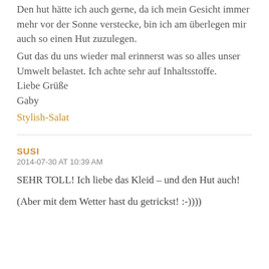Den hut hätte ich auch gerne, da ich mein Gesicht immer mehr vor der Sonne verstecke, bin ich am überlegen mir auch so einen Hut zuzulegen.
Gut das du uns wieder mal erinnerst was so alles unser Umwelt belastet. Ich achte sehr auf Inhaltsstoffe.
Liebe Grüße
Gaby
Stylish-Salat
SUSI
2014-07-30 AT 10:39 AM
SEHR TOLL! Ich liebe das Kleid – und den Hut auch!
(Aber mit dem Wetter hast du getrickst! :-))))